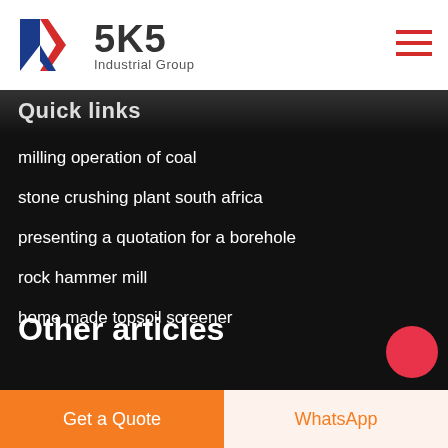[Figure (logo): SKS Industrial Group logo with red and blue K chevron mark and bold SKS text]
Quick links
milling operation of coal
stone crushing plant south africa
presenting a quotation for a borehole
rock hammer mill
home made topsoil screener
Other articles
Get a Quote
WhatsApp